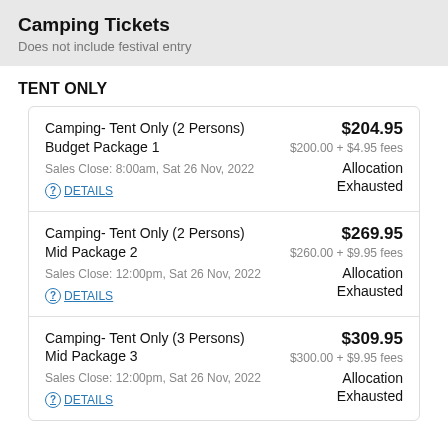Camping Tickets
Does not include festival entry
TENT ONLY
| Ticket | Price | Status |
| --- | --- | --- |
| Camping- Tent Only (2 Persons) Budget Package 1
Sales Close: 8:00am, Sat 26 Nov, 2022 | $204.95
$200.00 + $4.95 fees | Allocation Exhausted |
| Camping- Tent Only (2 Persons) Mid Package 2
Sales Close: 12:00pm, Sat 26 Nov, 2022 | $269.95
$260.00 + $9.95 fees | Allocation Exhausted |
| Camping- Tent Only (3 Persons) Mid Package 3
Sales Close: 12:00pm, Sat 26 Nov, 2022 | $309.95
$300.00 + $9.95 fees | Allocation Exhausted |